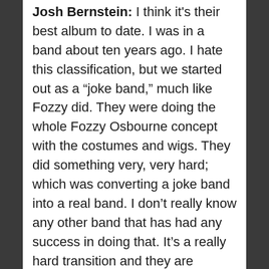Josh Bernstein: I think it's their best album to date. I was in a band about ten years ago. I hate this classification, but we started out as a “joke band,” much like Fozzy did. They were doing the whole Fozzy Osbourne concept with the costumes and wigs. They did something very, very hard; which was converting a joke band into a real band. I don’t really know any other band that has had any success in doing that. It’s a really hard transition and they are coming out the other side successfully.
Alex Obert: What about Steel Panther?